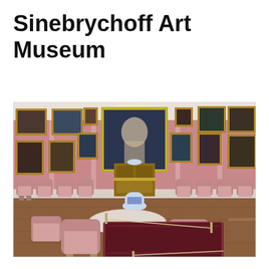Sinebrychoff Art Museum
[Figure (photo): Interior of the Sinebrychoff Art Museum showing an ornate room with pink walls covered in gilt-framed portrait paintings. The room contains elegant Louis XVI-style gilded chairs and a round table in the foreground, a chandelier on the ceiling, antique furniture along the walls, and a large central portrait painting. A dark red patterned rug runs along the floor center, and museum rope barriers are visible.]